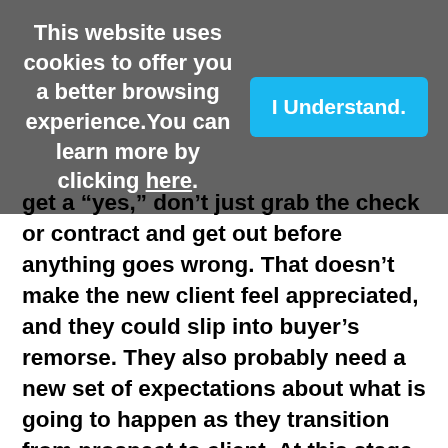This website uses cookies to offer you a better browsing experience.You can learn more by clicking here.
I Understand.
get a “yes,” don’t just grab the check or contract and get out before anything goes wrong. That doesn’t make the new client feel appreciated, and they could slip into buyer’s remorse. They also probably need a new set of expectations about what is going to happen as they transition from prospect to client. At this stage, you can also deal with any unresolved issues (like existing vendors); ask for referrals; or begin a conversation about repeat business. If you hang in there for a few more minutes, a lot of problems can be avoided. This will also separate you from